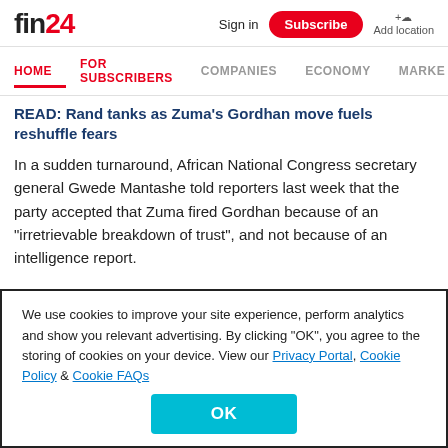fin24 | Sign in | Subscribe | Add location
HOME | FOR SUBSCRIBERS | COMPANIES | ECONOMY | MARKE
READ: Rand tanks as Zuma's Gordhan move fuels reshuffle fears
In a sudden turnaround, African National Congress secretary general Gwede Mantashe told reporters last week that the party accepted that Zuma fired Gordhan because of an "irretrievable breakdown of trust", and not because of an intelligence report.
We use cookies to improve your site experience, perform analytics and show you relevant advertising. By clicking "OK", you agree to the storing of cookies on your device. View our Privacy Portal, Cookie Policy & Cookie FAQs
OK